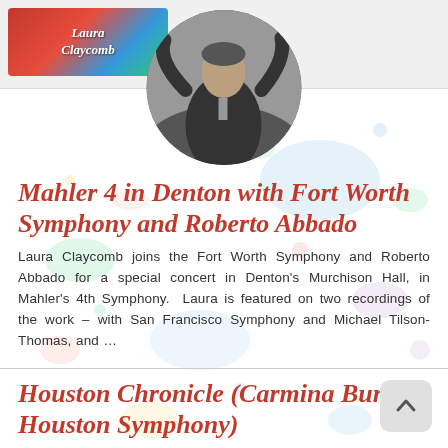Laura Claycomb
[Figure (photo): Circular cropped photo of a conductor in a black suit with arms raised conducting an orchestra, photographed in dramatic black and white/dark tones]
Mahler 4 in Denton with Fort Worth Symphony and Roberto Abbado
Laura Claycomb joins the Fort Worth Symphony and Roberto Abbado for a special concert in Denton's Murchison Hall, in Mahler's 4th Symphony.  Laura is featured on two recordings of the work – with San Francisco Symphony and Michael Tilson-Thomas, and ...
Houston Chronicle (Carmina Burana, Houston Symphony)